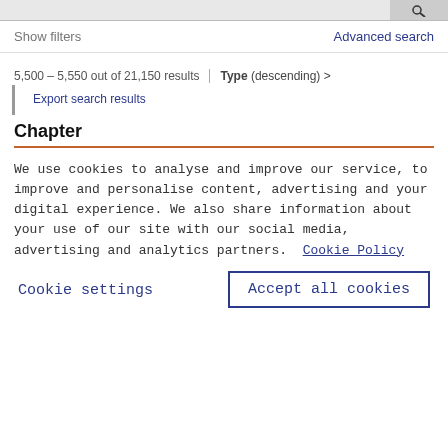Show filters | Advanced search
5,500 - 5,550 out of 21,150 results | Type (descending) >
Export search results
Chapter
We use cookies to analyse and improve our service, to improve and personalise content, advertising and your digital experience. We also share information about your use of our site with our social media, advertising and analytics partners.  Cookie Policy
Cookie settings
Accept all cookies